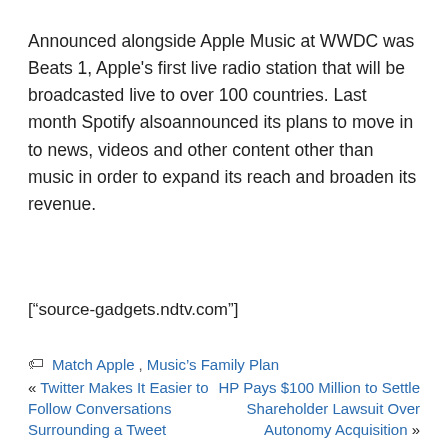Announced alongside Apple Music at WWDC was Beats 1, Apple's first live radio station that will be broadcasted live to over 100 countries. Last month Spotify alsoannounced its plans to move in to news, videos and other content other than music in order to expand its reach and broaden its revenue.
["source-gadgets.ndtv.com"]
🏷 Match Apple, Music's Family Plan
« Twitter Makes It Easier to Follow Conversations Surrounding a Tweet | HP Pays $100 Million to Settle Shareholder Lawsuit Over Autonomy Acquisition »